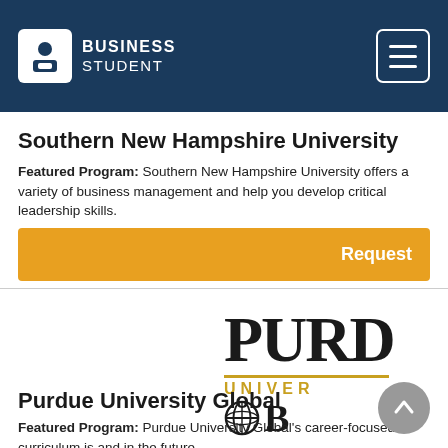BUSINESS STUDENT
Southern New Hampshire University
Featured Program: Southern New Hampshire University offers a variety of business management and help you develop critical leadership skills.
Request
[Figure (logo): Purdue University Global logo showing large serif PURD text, gold underline, UNIVER text in gold, and GLOB with globe icon]
Purdue University Global
Featured Program: Purdue University Global's career-focused curriculum is and in the future.